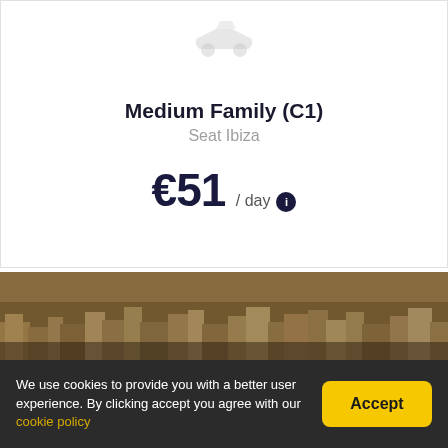[Figure (illustration): Gray placeholder car icon at top center]
Medium Family (C1)
Seat Ibiza
€51 / day
[Figure (photo): Aerial photo of a Mediterranean city with densely packed buildings]
We use cookies to provide you with a better user experience. By clicking accept you agree with our cookie policy